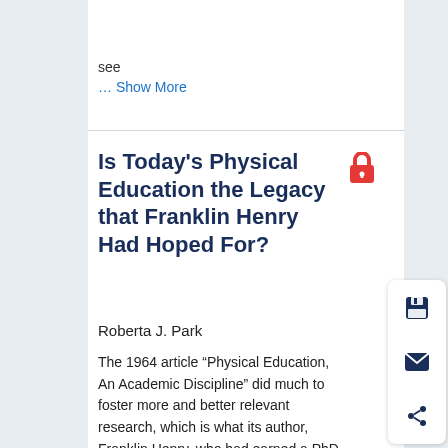[Figure (screenshot): Black banner with partial text 'experience.' visible in white text]
see
... Show More
Is Today's Physical Education the Legacy that Franklin Henry Had Hoped For?
Roberta J. Park
The 1964 article “Physical Education, An Academic Discipline” did much to foster more and better relevant research, which is what its author, Franklin Henry, who had earned a PhD in Physiological Psychology, had hoped would occur. However, a